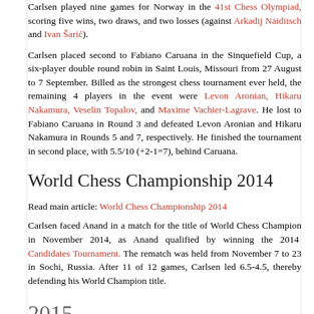Carlsen played nine games for Norway in the 41st Chess Olympiad, scoring five wins, two draws, and two losses (against Arkadij Naiditsch and Ivan Šarić).
Carlsen placed second to Fabiano Caruana in the Sinquefield Cup, a six-player double round robin in Saint Louis, Missouri from 27 August to 7 September. Billed as the strongest chess tournament ever held, the remaining 4 players in the event were Levon Aronian, Hikaru Nakamura, Veselin Topalov, and Maxime Vachier-Lagrave. He lost to Fabiano Caruana in Round 3 and defeated Levon Aronian and Hikaru Nakamura in Rounds 5 and 7, respectively. He finished the tournament in second place, with 5.5/10 (+2-1=7), behind Caruana.
World Chess Championship 2014
Read main article: World Chess Championship 2014
Carlsen faced Anand in a match for the title of World Chess Champion in November 2014, as Anand qualified by winning the 2014 Candidates Tournament. The rematch was held from November 7 to 23 in Sochi, Russia. After 11 of 12 games, Carlsen led 6.5-4.5, thereby defending his World Champion title.
2015
In January, Carlsen won the Tata Steel Chess Tournament, which was played mainly in Wijk aan Zee on 9-25 January. Carlsen had a poor start to the tournament with two draws and a loss in the third round to Radosław Wojtaszek, which left him in tenth place among